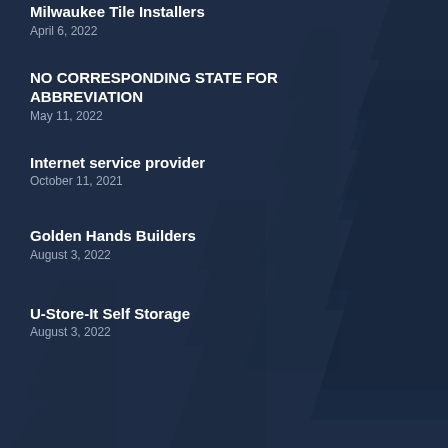Milwaukee Tile Installers
April 6, 2022
NO CORRESPONDING STATE FOR ABBREVIATION
May 11, 2022
Internet service provider
October 11, 2021
Golden Hands Builders
August 3, 2022
U-Store-It Self Storage
August 3, 2022